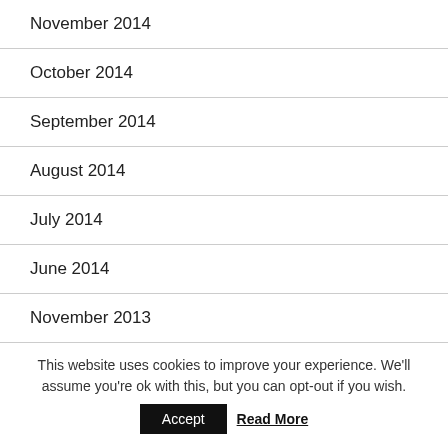November 2014
October 2014
September 2014
August 2014
July 2014
June 2014
November 2013
This website uses cookies to improve your experience. We'll assume you're ok with this, but you can opt-out if you wish. Accept Read More